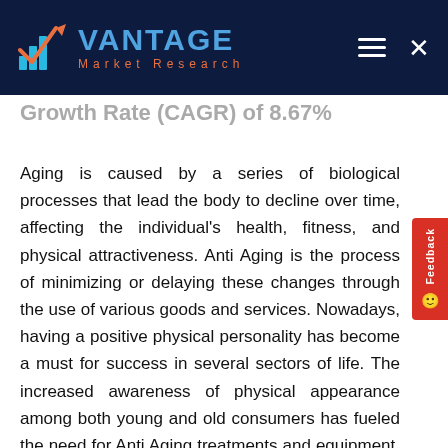Vantage Market Research
Growth Rate (CAGR) of 8.67%
Aging is caused by a series of biological processes that lead the body to decline over time, affecting the individual's health, fitness, and physical attractiveness. Anti Aging is the process of minimizing or delaying these changes through the use of various goods and services. Nowadays, having a positive physical personality has become a must for success in several sectors of life. The increased awareness of physical appearance among both young and old consumers has fueled the need for Anti Aging treatments and equipment. Plastic